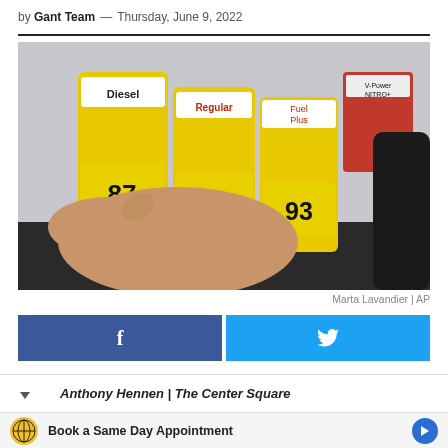by Gant Team — Thursday, June 9, 2022
[Figure (photo): Close-up of a person's hand pressing a button on a gas pump, with yellow grade selector buttons showing 87, 89, and 93 octane, plus Diesel and other labels visible.]
Marta Lavandier | AP
[Figure (other): Facebook share button (blue) and Twitter share button (light blue) side by side]
Anthony Hennen | The Center Square
Book a Same Day Appointment